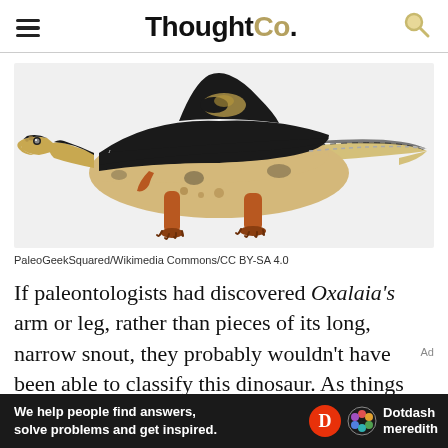ThoughtCo.
[Figure (illustration): Artistic reconstruction of Oxalaia, a large spinosaurid dinosaur with a long narrow snout, tan/beige underside, dark black dorsal coloring with a sail-like ridge, orange-brown legs, and a long tapering tail.]
PaleoGeekSquared/Wikimedia Commons/CC BY-SA 4.0
If paleontologists had discovered Oxalaia's arm or leg, rather than pieces of its long, narrow snout, they probably wouldn't have been able to classify this dinosaur. As things stand,
[Figure (infographic): Dotdash Meredith advertisement banner: dark background with text 'We help people find answers, solve problems and get inspired.' with Dotdash Meredith logo.]